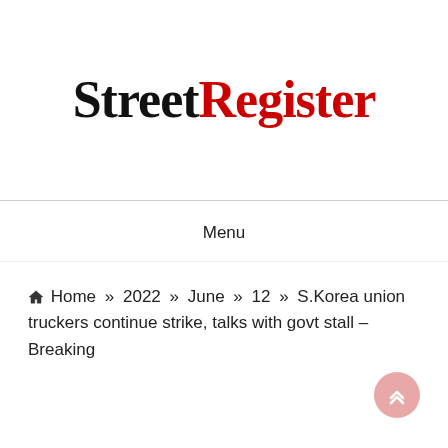[Figure (logo): StreetRegister logo with 'Street' in black bold serif and 'Register' in red bold serif]
Menu
🏠 Home » 2022 » June » 12 » S.Korea union truckers continue strike, talks with govt stall –Breaking